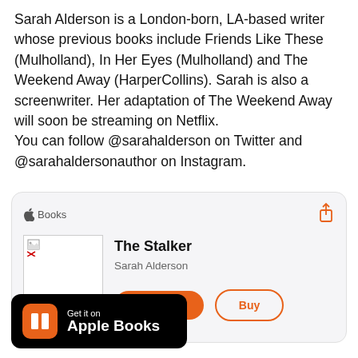Sarah Alderson is a London-born, LA-based writer whose previous books include Friends Like These (Mulholland), In Her Eyes (Mulholland) and The Weekend Away (HarperCollins). Sarah is also a screenwriter. Her adaptation of The Weekend Away will soon be streaming on Netflix.
You can follow @sarahalderson on Twitter and @sarahaldersonauthor on Instagram.
[Figure (screenshot): Apple Books card widget showing 'The Stalker' by Sarah Alderson with Preview and Buy buttons]
[Figure (screenshot): Get it on Apple Books badge/banner with orange Apple Books icon on black background]